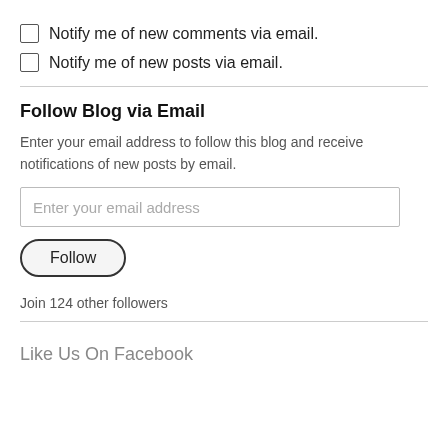Notify me of new comments via email.
Notify me of new posts via email.
Follow Blog via Email
Enter your email address to follow this blog and receive notifications of new posts by email.
Enter your email address
Follow
Join 124 other followers
Like Us On Facebook